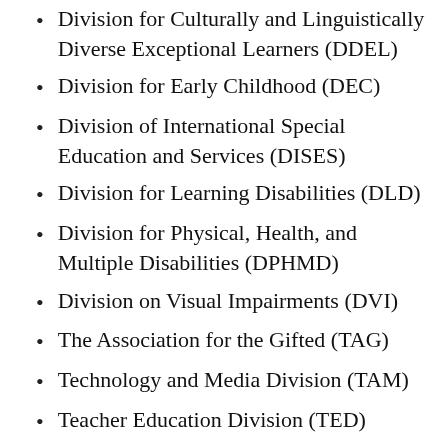Division for Culturally and Linguistically Diverse Exceptional Learners (DDEL)
Division for Early Childhood (DEC)
Division of International Special Education and Services (DISES)
Division for Learning Disabilities (DLD)
Division for Physical, Health, and Multiple Disabilities (DPHMD)
Division on Visual Impairments (DVI)
The Association for the Gifted (TAG)
Technology and Media Division (TAM)
Teacher Education Division (TED)